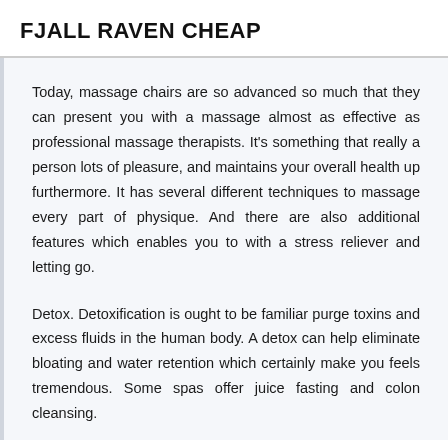FJALL RAVEN CHEAP
Today, massage chairs are so advanced so much that they can present you with a massage almost as effective as professional massage therapists. It's something that really a person lots of pleasure, and maintains your overall health up furthermore. It has several different techniques to massage every part of physique. And there are also additional features which enables you to with a stress reliever and letting go.
Detox. Detoxification is ought to be familiar purge toxins and excess fluids in the human body. A detox can help eliminate bloating and water retention which certainly make you feels tremendous. Some spas offer juice fasting and colon cleansing.